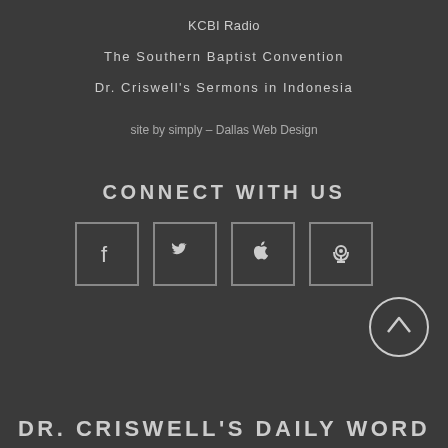KCBI Radio
The Southern Baptist Convention
Dr. Criswell's Sermons in Indonesia
site by simply – Dallas Web Design
CONNECT WITH US
[Figure (infographic): Four social media icon buttons in bordered squares: Facebook (f), Twitter (bird), Apple, Podcast]
[Figure (infographic): Circular back-to-top button with upward arrow]
DR. CRISWELL'S DAILY WORD